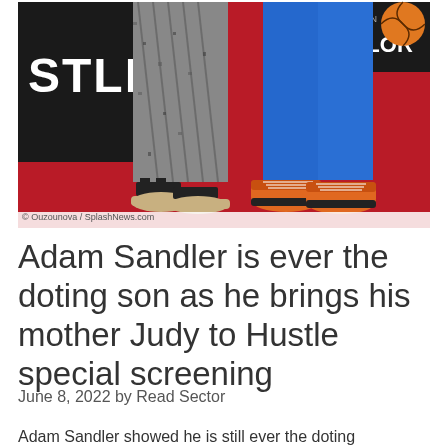[Figure (photo): Red carpet photo showing legs of two people standing on a red carpet. One person wears patterned pants and black sandals, the other wears bright blue pants and orange sneakers. A sign reading 'HUSTLE' and 'WRITTEN BY TAYLOR' is visible in the background.]
© Ouzounova / SplashNews.com
Adam Sandler is ever the doting son as he brings his mother Judy to Hustle special screening
June 8, 2022 by Read Sector
Adam Sandler showed he is still ever the doting